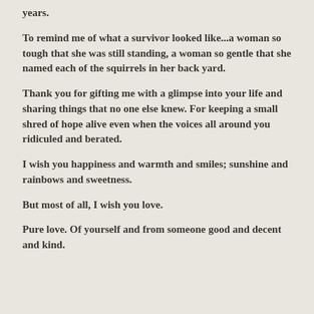years.
To remind me of what a survivor looked like...a woman so tough that she was still standing, a woman so gentle that she named each of the squirrels in her back yard.
Thank you for gifting me with a glimpse into your life and sharing things that no one else knew. For keeping a small shred of hope alive even when the voices all around you ridiculed and berated.
I wish you happiness and warmth and smiles; sunshine and rainbows and sweetness.
But most of all, I wish you love.
Pure love. Of yourself and from someone good and decent and kind.